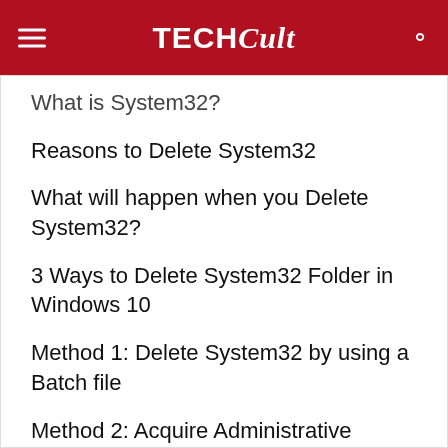TECHCult
What is System32?
Reasons to Delete System32
What will happen when you Delete System32?
3 Ways to Delete System32 Folder in Windows 10
Method 1: Delete System32 by using a Batch file
Method 2: Acquire Administrative Privileges To Delete System32
Method 3: Gain File Permissions With TrustedInstaler